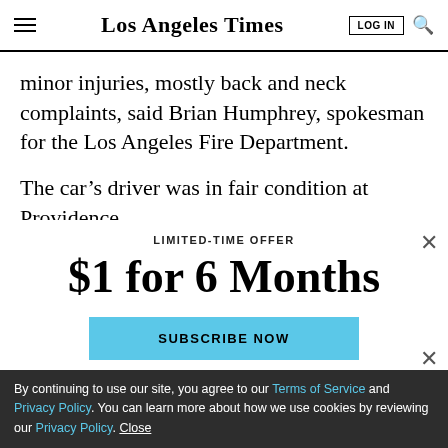Los Angeles Times
minor injuries, mostly back and neck complaints, said Brian Humphrey, spokesman for the Los Angeles Fire Department.
The car’s driver was in fair condition at Providence
LIMITED-TIME OFFER
$1 for 6 Months
SUBSCRIBE NOW
By continuing to use our site, you agree to our Terms of Service and Privacy Policy. You can learn more about how we use cookies by reviewing our Privacy Policy. Close